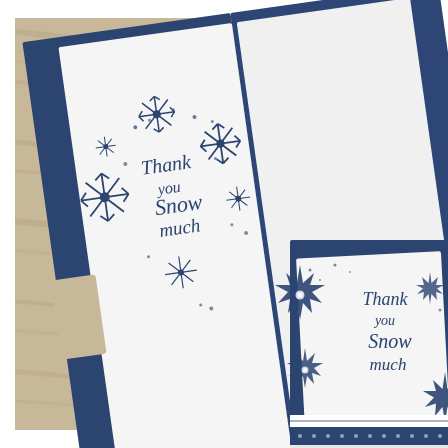[Figure (photo): A photograph of two handmade greeting cards featuring navy blue cardstock with snowflake decorations and the script text 'Thank you Snow much'. The left card is open showing the interior with stamped snowflakes in navy blue ink on white paper. The right card shows the front with die-cut snowflakes and a white panel with the same sentiment. Both cards rest on a rustic wood grain surface. A polka-dot ribbon band is visible at the bottom of the right card.]